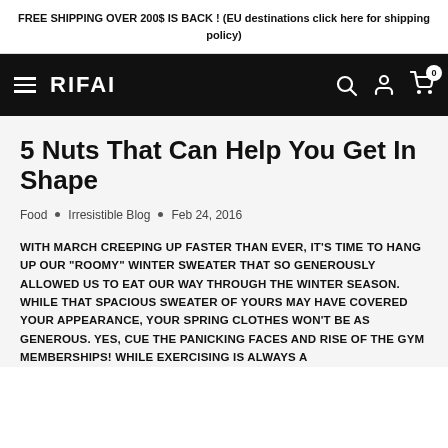FREE SHIPPING OVER 200$ IS BACK ! (EU destinations click here for shipping policy)
[Figure (logo): RIFAI brand logo with navigation bar including hamburger menu, search, account, and cart icons on black background]
5 Nuts That Can Help You Get In Shape
Food  •  Irresistible Blog  •  Feb 24, 2016
WITH MARCH CREEPING UP FASTER THAN EVER, IT'S TIME TO HANG UP OUR "ROOMY" WINTER SWEATER THAT SO GENEROUSLY ALLOWED US TO EAT OUR WAY THROUGH THE WINTER SEASON. WHILE THAT SPACIOUS SWEATER OF YOURS MAY HAVE COVERED YOUR APPEARANCE, YOUR SPRING CLOTHES WON'T BE AS GENEROUS. YES, CUE THE PANICKING FACES AND RISE OF THE GYM MEMBERSHIPS! WHILE EXERCISING IS ALWAYS A